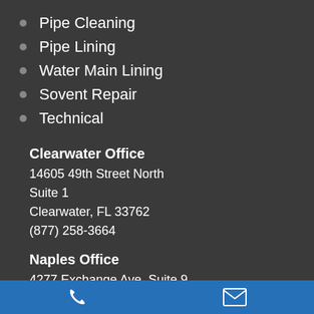Pipe Cleaning
Pipe Lining
Water Main Lining
Sovent Repair
Technical
Clearwater Office
14605 49th Street North
Suite 1
Clearwater, FL 33762
(877) 258-3664
Naples Office
4277 Exchange Ave. Suite 9
Naples, FL 34104
Phone | Email